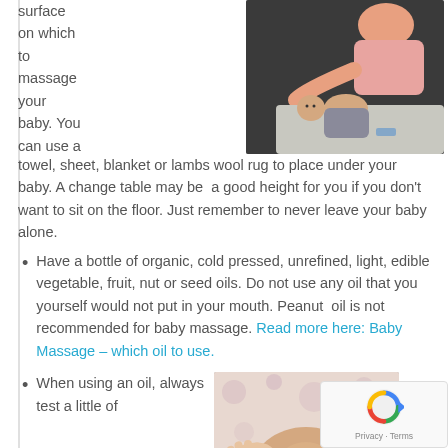surface on which to massage your baby. You can use a towel, sheet, blanket or lambs wool rug to place under your baby. A change table may be a good height for you if you don't want to sit on the floor. Just remember to never leave your baby alone.
[Figure (photo): Person massaging a baby on a surface]
Have a bottle of organic, cold pressed, unrefined, light, edible vegetable, fruit, nut or seed oils. Do not use any oil that you yourself would not put in your mouth. Peanut oil is not recommended for baby massage. Read more here: Baby Massage – which oil to use.
When using an oil, always test a little of
[Figure (photo): Hands applying oil to a baby]